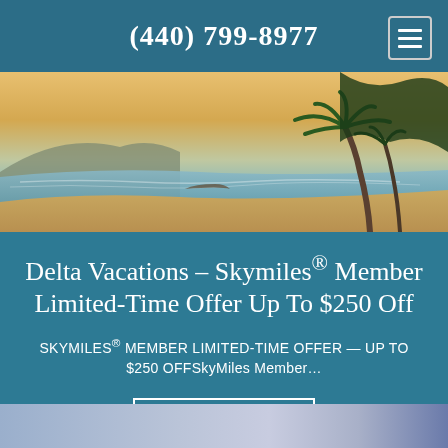(440) 799-8977
[Figure (photo): Tropical beach scene at golden sunset with palm trees on the right, calm ocean water, sandy beach, and hills in the background.]
Delta Vacations – Skymiles® Member Limited-Time Offer Up To $250 Off
SKYMILES® MEMBER LIMITED-TIME OFFER — UP TO $250 OFFSkyMiles Member...
View details »